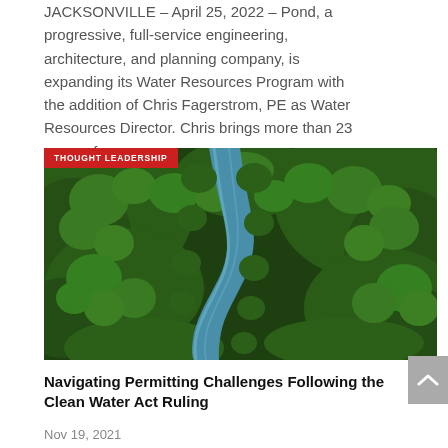JACKSONVILLE – April 25, 2022 – Pond, a progressive, full-service engineering, architecture, and planning company, is expanding its Water Resources Program with the addition of Chris Fagerstrom, PE as Water Resources Director. Chris brings more than 23 years of…
[Figure (photo): Aerial view of a winding river through a dense green forest, with a red 'THOUGHT LEADERSHIP' badge overlaid in the top-left corner.]
Navigating Permitting Challenges Following the Clean Water Act Ruling
Nov 19, 2021